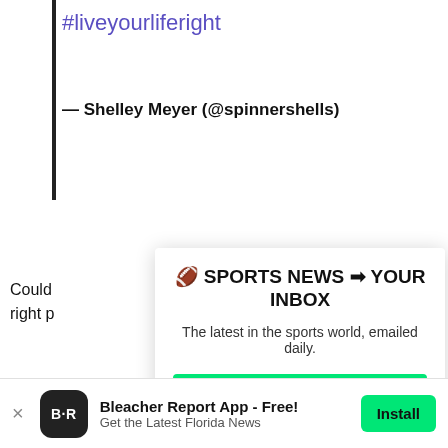#liveyourliferight
— Shelley Meyer (@spinnershells)
Could right p
But hi contro men a
Meyer year ru SEC ti poste
🏈 SPORTS NEWS ➡ YOUR INBOX
The latest in the sports world, emailed daily.
Join Newsletter
Maybe Later
Bleacher Report App - Free! Get the Latest Florida News